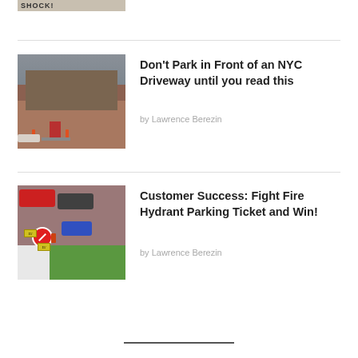[Figure (photo): Top partial image strip showing partial view of a photo with text 'SHOCK!']
[Figure (photo): Photo of NYC brownstone building with orange parking cones in front of a driveway]
Don't Park in Front of an NYC Driveway until you read this
by Lawrence Berezin
[Figure (photo): Illustration/photo of cars near a fire hydrant with no-parking sign and green curb zone markings]
Customer Success: Fight Fire Hydrant Parking Ticket and Win!
by Lawrence Berezin